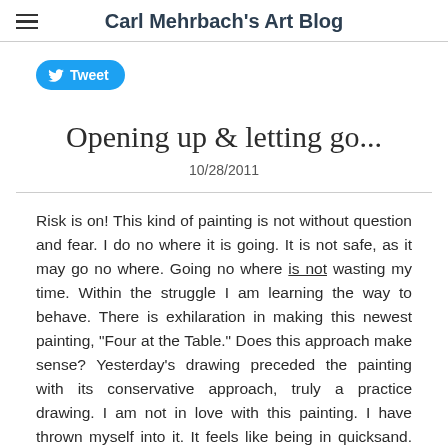Carl Mehrbach's Art Blog
[Figure (other): Tweet button with Twitter bird icon]
Opening up & letting go...
10/28/2011
Risk is on! This kind of painting is not without question and fear. I do no where it is going. It is not safe, as it may go no where. Going no where is not wasting my time. Within the struggle I am learning the way to behave. There is exhilaration in making this newest painting, "Four at the Table." Does this approach make sense? Yesterday's drawing preceded the painting with its conservative approach, truly a practice drawing. I am not in love with this painting. I have thrown myself into it. It feels like being in quicksand. Its survival